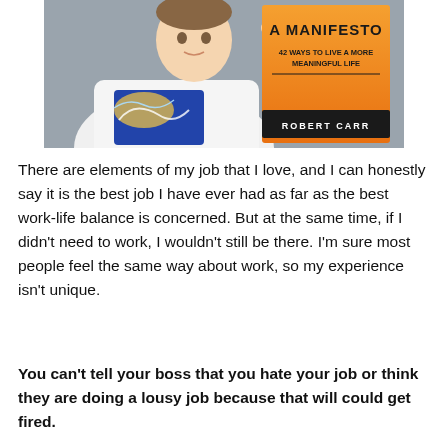[Figure (photo): Man in white t-shirt with Van Gogh Starry Night print holding up an orange book titled 'A Manifesto: 42 Ways to Live a More Meaningful Life' by Robert Carr]
There are elements of my job that I love, and I can honestly say it is the best job I have ever had as far as the best work-life balance is concerned. But at the same time, if I didn't need to work, I wouldn't still be there. I'm sure most people feel the same way about work, so my experience isn't unique.
You can't tell your boss that you hate your job or think they are doing a lousy job because that will could get fired.